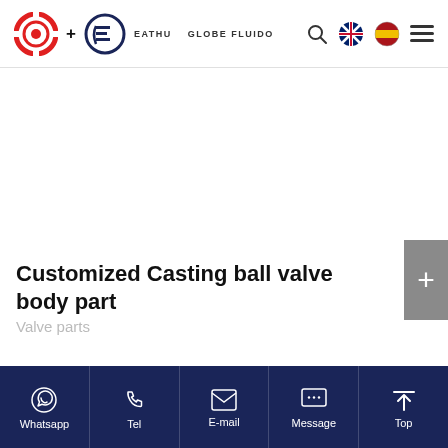EATHU + GLOBE FLUIDO — navigation header with search, language, and menu icons
Customized Casting ball valve body part
Valve parts
Whatsapp | Tel | E-mail | Message | Top